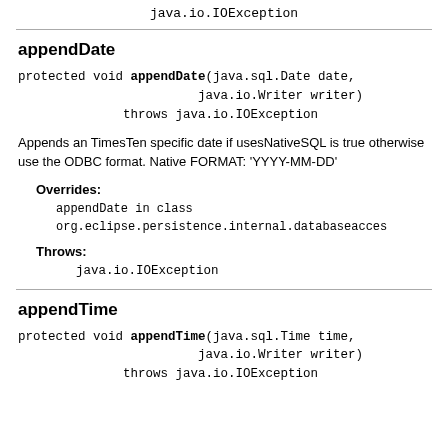java.io.IOException
appendDate
protected void appendDate(java.sql.Date date,
                        java.io.Writer writer)
              throws java.io.IOException
Appends an TimesTen specific date if usesNativeSQL is true otherwise use the ODBC format. Native FORMAT: 'YYYY-MM-DD'
Overrides:
appendDate in class
org.eclipse.persistence.internal.databaseacces
Throws:
java.io.IOException
appendTime
protected void appendTime(java.sql.Time time,
                        java.io.Writer writer)
              throws java.io.IOException